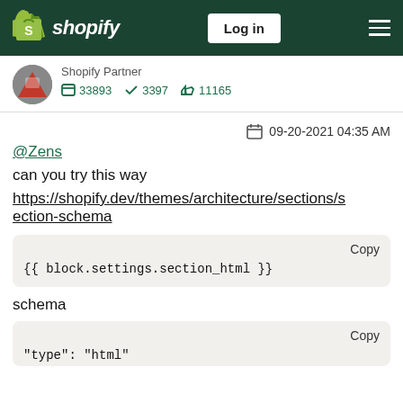Shopify - Log in
Shopify Partner  33893  3397  11165
09-20-2021 04:35 AM
@Zens
can you try this way
https://shopify.dev/themes/architecture/sections/section-schema
{{ block.settings.section_html }}
schema
"type": "html"